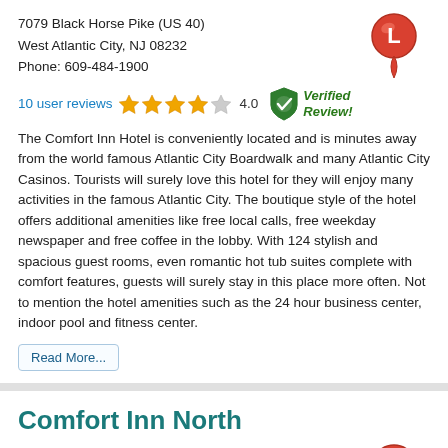7079 Black Horse Pike (US 40)
West Atlantic City, NJ 08232
Phone: 609-484-1900
[Figure (illustration): Red map pin marker with letter L]
10 user reviews ★★★★☆ 4.0 ✓ Verified Review!
The Comfort Inn Hotel is conveniently located and is minutes away from the world famous Atlantic City Boardwalk and many Atlantic City Casinos. Tourists will surely love this hotel for they will enjoy many activities in the famous Atlantic City. The boutique style of the hotel offers additional amenities like free local calls, free weekday newspaper and free coffee in the lobby. With 124 stylish and spacious guest rooms, even romantic hot tub suites complete with comfort features, guests will surely stay in this place more often. Not to mention the hotel amenities such as the 24 hour business center, indoor pool and fitness center.
Read More...
Comfort Inn North
539 Absecon Blvd.
Absecon, NJ
Phone:
[Figure (illustration): Red map pin marker with letter M]